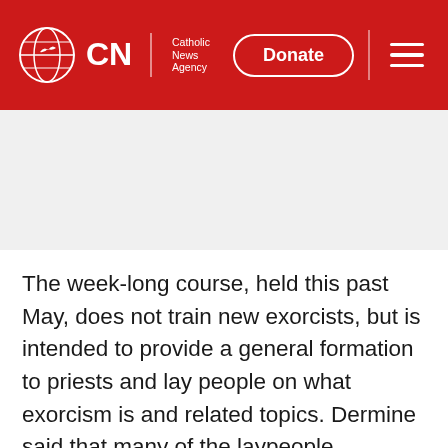CNA | Catholic News Agency — Donate
[Figure (other): Gray advertisement/banner placeholder area]
The week-long course, held this past May, does not train new exorcists, but is intended to provide a general formation to priests and lay people on what exorcism is and related topics. Dermine said that many of the laypeople attending the course are there at the request of their bishop, so they can learn how to better support and assist priests at exorcisms.